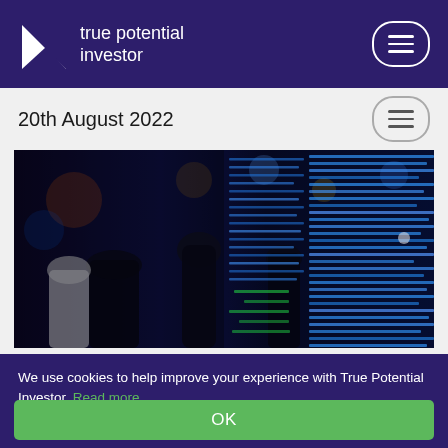true potential investor
20th August 2022
[Figure (photo): People silhouetted in front of a large digital stock market ticker display board with blue and green data lights]
We use cookies to help improve your experience with True Potential Investor. Read more
OK